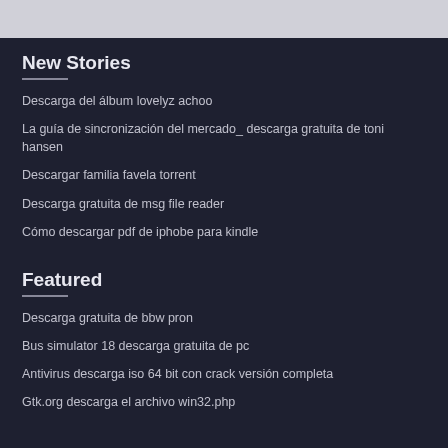New Stories
Descarga del álbum lovelyz achoo
La guía de sincronización del mercado_ descarga gratuita de toni hansen
Descargar familia favela torrent
Descarga gratuita de msg file reader
Cómo descargar pdf de iphobe para kindle
Featured
Descarga gratuita de bbw pron
Bus simulator 18 descarga gratuita de pc
Antivirus descarga iso 64 bit con crack versión completa
Gtk.org descarga el archivo win32.php